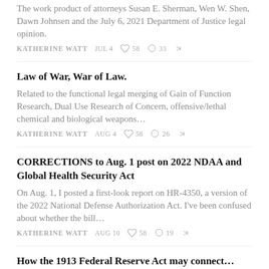The work product of attorneys Susan E. Sherman, Wen W. Shen, Dawn Johnsen and the July 6, 2021 Department of Justice legal opinion.
KATHERINE WATT   JUL 4   ♡ 58   ○ 33   ➦
Law of War, War of Law.
Related to the functional legal merging of Gain of Function Research, Dual Use Research of Concern, offensive/lethal chemical and biological weapons…
KATHERINE WATT   AUG 4   ♡ 58   ○ 26   ➦
CORRECTIONS to Aug. 1 post on 2022 NDAA and Global Health Security Act
On Aug. 1, I posted a first-look report on HR-4350, a version of the 2022 National Defense Authorization Act. I've been confused about whether the bill…
KATHERINE WATT   AUG 10   ♡ 58   ○ 19   ➦
How the 1913 Federal Reserve Act may connect…